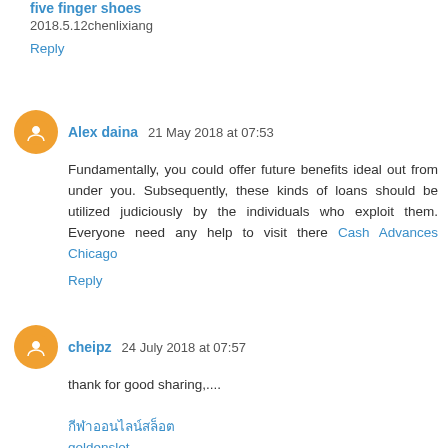five finger shoes
2018.5.12chenlixiang
Reply
Alex daina 21 May 2018 at 07:53
Fundamentally, you could offer future benefits ideal out from under you. Subsequently, these kinds of loans should be utilized judiciously by the individuals who exploit them. Everyone need any help to visit there Cash Advances Chicago
Reply
cheipz 24 July 2018 at 07:57
thank for good sharing,....
goldenslot
golden slot